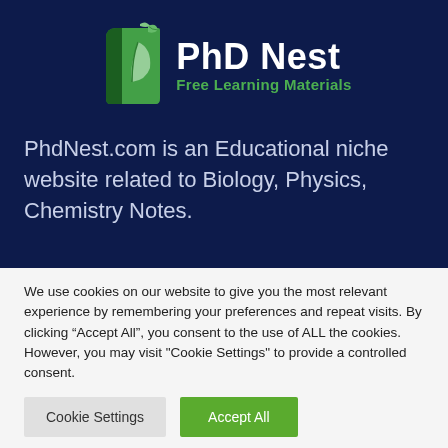[Figure (logo): PhD Nest logo with green book and leaf icon, white bold 'PhD Nest' text and green 'Free Learning Materials' subtitle on dark navy background]
PhdNest.com is an Educational niche website related to Biology, Physics, Chemistry Notes.
We use cookies on our website to give you the most relevant experience by remembering your preferences and repeat visits. By clicking “Accept All”, you consent to the use of ALL the cookies. However, you may visit "Cookie Settings" to provide a controlled consent.